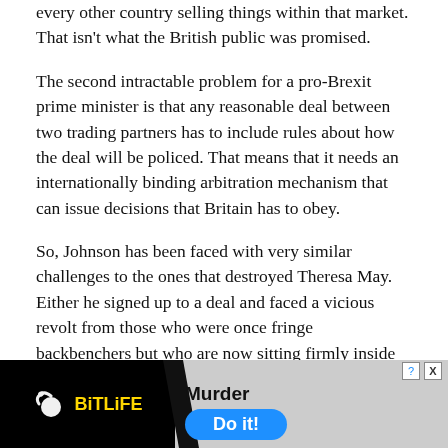every other country selling things within that market. That isn't what the British public was promised.
The second intractable problem for a pro-Brexit prime minister is that any reasonable deal between two trading partners has to include rules about how the deal will be policed. That means that it needs an internationally binding arbitration mechanism that can issue decisions that Britain has to obey.
So, Johnson has been faced with very similar challenges to the ones that destroyed Theresa May. Either he signed up to a deal and faced a vicious revolt from those who were once fringe backbenchers but who are now sitting firmly inside his Cabinet, or he had to risk inflicting serious damage to the UK economy in the middle of an already
[Figure (other): BitLife app advertisement banner. Black left section with BitLife logo (yellow text, sperm icon). Right section on grey background showing 'Murder' text and 'Do it!' blue pill button. Close and help icons in top right.]